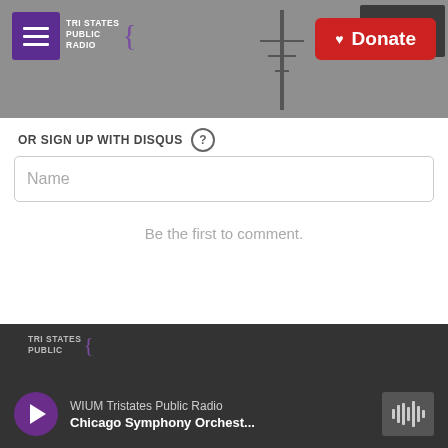[Figure (screenshot): Website header banner with Tri States Public Radio logo, hamburger menu, radio tower background image, and red Donate button]
OR SIGN UP WITH DISQUS ?
Name
Be the first to comment.
Subscribe  Add Disqus  Do Not Sell My Data  DISQUS
[Figure (screenshot): Tri States Public Radio audio player bar with play button, WIUM Tristates Public Radio station name, Chicago Symphony Orchest... track title, and waveform icon]